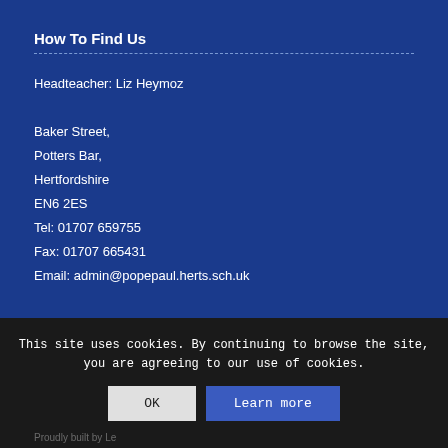How To Find Us
Headteacher: Liz Heymoz

Baker Street,
Potters Bar,
Hertfordshire
EN6 2ES
Tel: 01707 659755
Fax: 01707 665431
Email: admin@popepaul.herts.sch.uk
This site uses cookies. By continuing to browse the site, you are agreeing to our use of cookies.
OK
Learn more
Proudly built by Le…